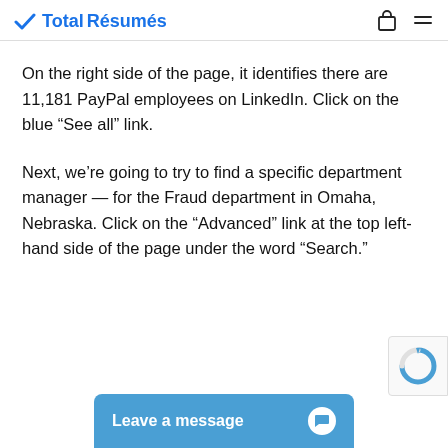TotalRésumés
On the right side of the page, it identifies there are 11,181 PayPal employees on LinkedIn. Click on the blue “See all” link.
Next, we’re going to try to find a specific department manager — for the Fraud department in Omaha, Nebraska. Click on the “Advanced” link at the top left-hand side of the page under the word “Search.”